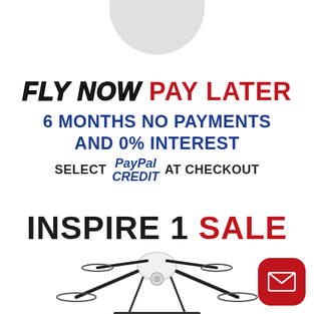[Figure (illustration): Partial circle/logo at top of page, cropped]
FLY NOW PAY LATER
6 MONTHS NO PAYMENTS AND 0% INTEREST
SELECT PayPal CREDIT AT CHECKOUT
INSPIRE 1 SALE
[Figure (photo): DJI Inspire 1 drone photographed from below/front, white body, black arms, bottom portion of image]
[Figure (illustration): Red rounded square email button in bottom right corner with white envelope icon]